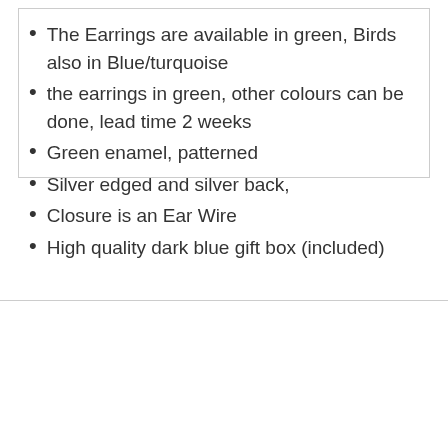The Earrings are available in green, Birds also in Blue/turquoise
the earrings in green, other colours can be done, lead time 2 weeks
Green enamel, patterned
Silver edged and silver back,
Closure is an Ear Wire
High quality dark blue gift box (included)
[Figure (logo): CeltGift logo — small image placeholder with text 'CeltGift']
Authentic Celtic Irish gifts, Inspired by Ancient mythology.